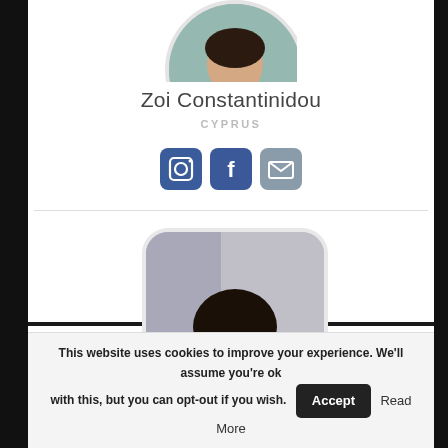[Figure (photo): Circular profile photo of a person in black outfit, partially visible at top of page]
Zoi Constantinidou
CYPRUS
[Figure (infographic): Three social media icon buttons: Instagram (camera icon), Facebook (f icon), and email (envelope icon) in dark blue and grey rounded squares]
[Figure (photo): Rounded square profile photo of a young woman with long dark hair and light makeup]
This website uses cookies to improve your experience. We'll assume you're ok with this, but you can opt-out if you wish.
Accept
Read More